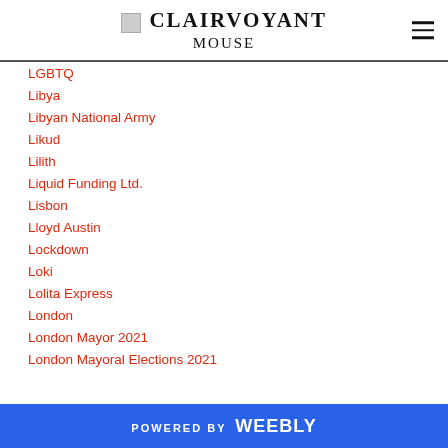CLAIRVOYANT MOUSE
LGBTQ
Libya
Libyan National Army
Likud
Lilith
Liquid Funding Ltd.
Lisbon
Lloyd Austin
Lockdown
Loki
Lolita Express
London
London Mayor 2021
London Mayoral Elections 2021
POWERED BY weebly